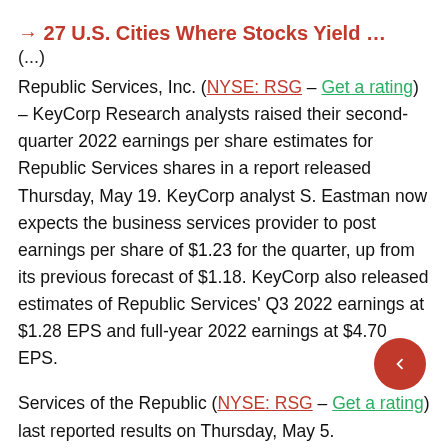→ 27 U.S. Cities Where Stocks Yield ...
Republic Services, Inc. (NYSE: RSG – Get a rating) – KeyCorp Research analysts raised their second-quarter 2022 earnings per share estimates for Republic Services shares in a report released Thursday, May 19. KeyCorp analyst S. Eastman now expects the business services provider to post earnings per share of $1.23 for the quarter, up from its previous forecast of $1.18. KeyCorp also released estimates of Republic Services' Q3 2022 earnings at $1.28 EPS and full-year 2022 earnings at $4.70 EPS.
Services of the Republic (NYSE: RSG – Get a rating) last reported results on Thursday, May 5.